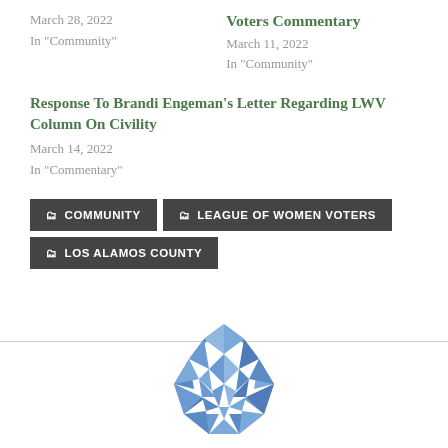March 28, 2022
In "Community"
Voters Commentary
March 11, 2022
In "Community"
Response To Brandi Engeman's Letter Regarding LWV Column On Civility
March 14, 2022
In "Commentary"
COMMUNITY
LEAGUE OF WOMEN VOTERS
LOS ALAMOS COUNTY
[Figure (logo): Blue geometric circular logo made of faceted triangle shapes forming a sun/gem design]